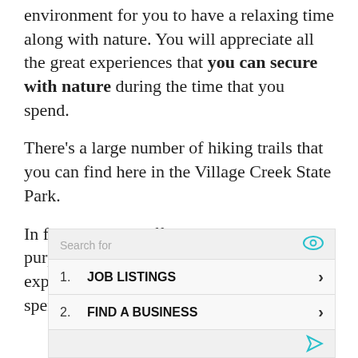environment for you to have a relaxing time along with nature. You will appreciate all the great experiences that you can secure with nature during the time that you spend.
There's a large number of hiking trails that you can find here in the Village Creek State Park.
In fact, trails are offering multiple purposes. Therefore, you can walk and explore the surroundings as you are spending your time here.
[Figure (other): Advertisement box with search bar showing 'Search for' label and eye icon, listing 1. JOB LISTINGS and 2. FIND A BUSINESS with chevron arrows, and a send/navigate icon at the bottom right. Watermark text partially visible in background.]